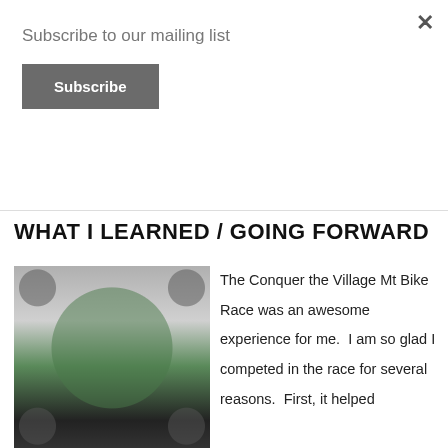Subscribe to our mailing list
Subscribe
WHAT I LEARNED / GOING FORWARD
[Figure (photo): Man in green t-shirt holding a trophy/plaque, standing in front of a mountain bike race backdrop with gear logos. Text on backdrop reads 'CITY'.]
The Conquer the Village Mt Bike Race was an awesome experience for me.  I am so glad I competed in the race for several reasons.  First, it helped